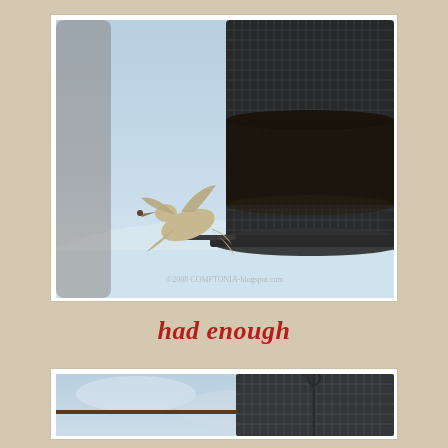[Figure (photo): A bird flying away from a cylindrical wire mesh bird feeder filled with dark seeds, with a snowy background. Watermark reads '©2008 COMPTONIA-blogspot.com'.]
had enough
[Figure (photo): Close-up of a wire mesh bird feeder against a light blue cloudy sky, showing the metal hook and perch rod, with no birds present.]